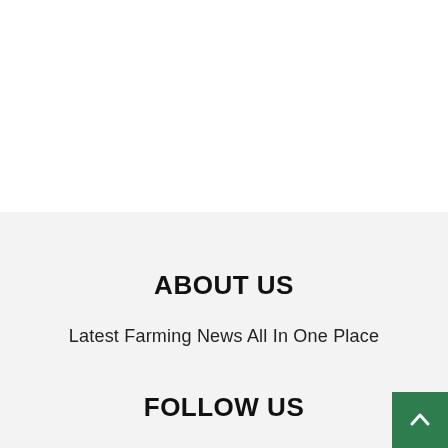ABOUT US
Latest Farming News All In One Place
FOLLOW US